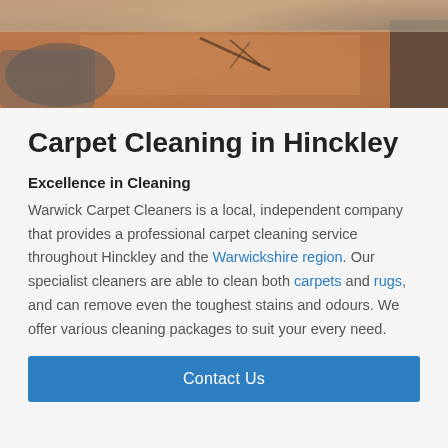[Figure (photo): Photo banner of a room with a rust/terracotta colored carpet or rug, with furniture visible including a grey pouf and a dark chair leg]
Carpet Cleaning in Hinckley
Excellence in Cleaning
Warwick Carpet Cleaners is a local, independent company that provides a professional carpet cleaning service throughout Hinckley and the Warwickshire region. Our specialist cleaners are able to clean both carpets and rugs, and can remove even the toughest stains and odours. We offer various cleaning packages to suit your every need.
Contact Us